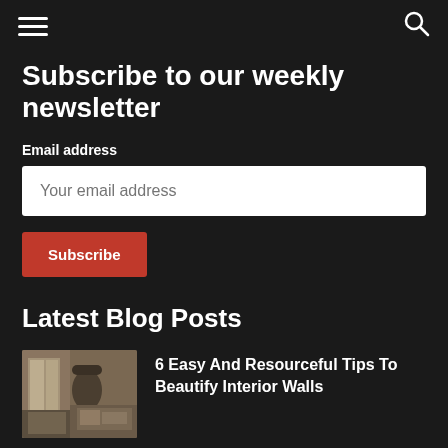Navigation bar with hamburger menu and search icon
Subscribe to our weekly newsletter
Email address
Your email address
Subscribe
Latest Blog Posts
[Figure (photo): Interior room photo showing living space with curtains and decorative items]
6 Easy And Resourceful Tips To Beautify Interior Walls